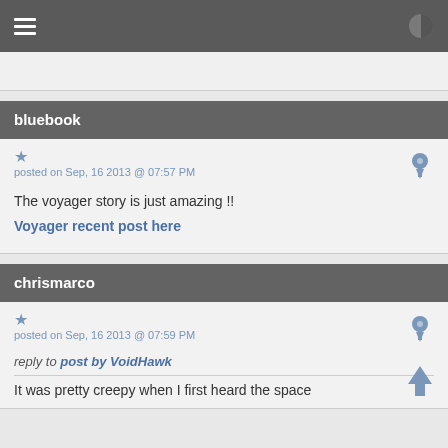Navigation bar with hamburger menu and contrast icon
bluebook
posted on Sep, 16 2013 @ 07:57 PM
The voyager story is just amazing !!
Voyager recent post here
chrismarco
posted on Sep, 16 2013 @ 07:59 PM
reply to post by VoidHawk
It was pretty creepy when I first heard the space